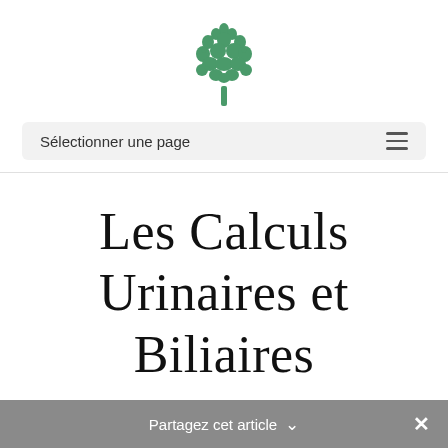[Figure (logo): Green tree/plant logo icon]
Sélectionner une page
Les Calculs Urinaires et Biliaires
Partagez cet article